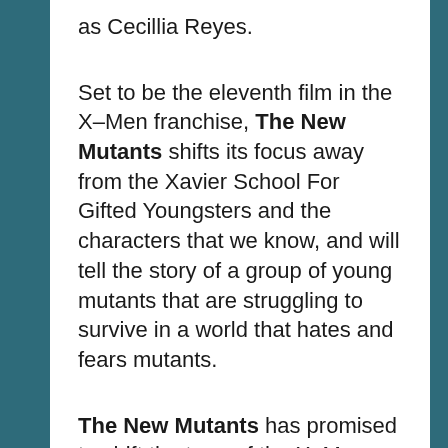as Cecillia Reyes.
Set to be the eleventh film in the X-Men franchise, The New Mutants shifts its focus away from the Xavier School For Gifted Youngsters and the characters that we know, and will tell the story of a group of young mutants that are struggling to survive in a world that hates and fears mutants.
The New Mutants has promised to shift the tone of the X-Men universe, leaving behind the bright costumes and super heroics that the franchise is known for, instead choosing